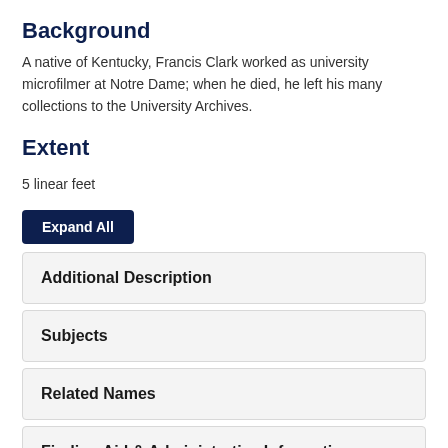Background
A native of Kentucky, Francis Clark worked as university microfilmer at Notre Dame; when he died, he left his many collections to the University Archives.
Extent
5 linear feet
Expand All
Additional Description
Subjects
Related Names
Finding Aid & Administrative Information
Repository Details